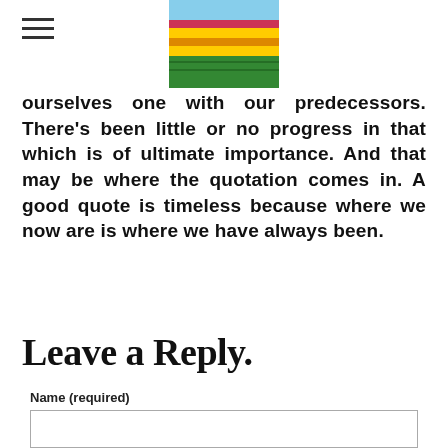[hamburger menu icon] [flower field image]
ourselves one with our predecessors. There's been little or no progress in that which is of ultimate importance. And that may be where the quotation comes in. A good quote is timeless because where we now are is where we have always been.
Leave a Reply.
Name (required)
[text input field]